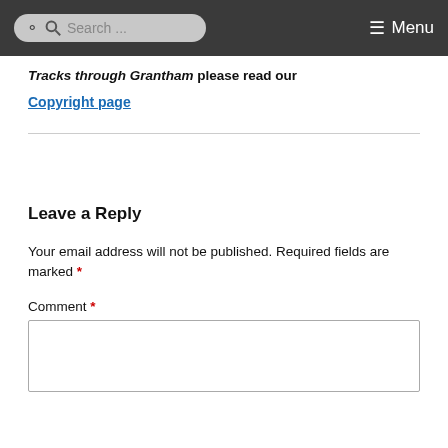Search ... Menu
Tracks through Grantham please read our
Copyright page
Leave a Reply
Your email address will not be published. Required fields are marked *
Comment *